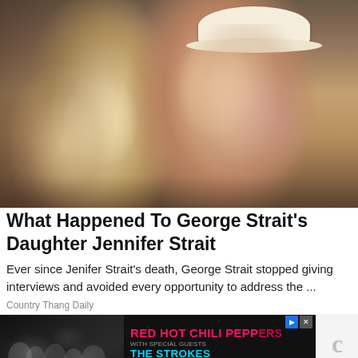[Figure (photo): A vintage color photograph of a young woman with blonde curly hair and a man wearing a white cowboy hat and pink shirt, seated outdoors. Appears to be George Strait and his daughter Jennifer Strait.]
What Happened To George Strait's Daughter Jennifer Strait
Ever since Jenifer Strait's death, George Strait stopped giving interviews and avoided every opportunity to address the ...
Country Thang Daily
[Figure (screenshot): Advertisement banner featuring a black-and-white band photo on the left and text on a black background: 'RED HOT CHILI PEPPERS', 'THE STROKES', 'AND THUNDERCAT' with play and close icons. A reCAPTCHA logo appears on the right.]
[Figure (photo): Partial bottom strip of a landscape photo, partially visible, showing an outdoor scene.]